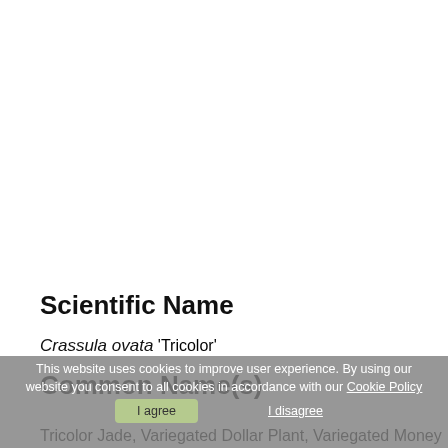Scientific Name
Crassula ovata 'Tricolor'
Common Name(s)
Tricolor Jade, Variegated Dollar Plant, Variegated Money
This website uses cookies to improve user experience. By using our website you consent to all cookies in accordance with our Cookie Policy